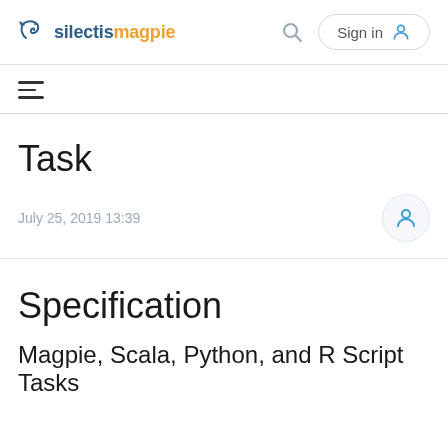silectis magpie  Sign in
[Figure (other): Hamburger menu icon (three horizontal lines)]
Task
July 25, 2019 13:39
Specification
Magpie, Scala, Python, and R Script Tasks